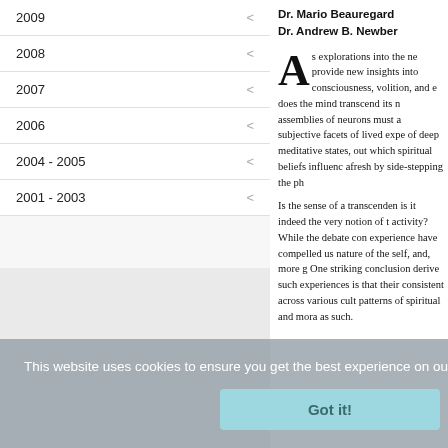2009
2008
2007
2006
2004 - 2005
2001 - 2003
Dr. Mario Beauregard
Dr. Andrew B. Newber
As explorations into the ne provide new insights into consciousness, volition, and e does the mind transcend its n assemblies of neurons must a subjective facets of lived expe of deep meditative states, out which spiritual beliefs influenc afresh by side-stepping the ph
Is the sense of a transcenden is it indeed the very notion of t activity? While the debate con experience have compelled us nature of the self, and, more g One striking conclusion derive such experiences is that their consistent across various cult patterns of spiritual and mora as such.
This website uses cookies to ensure you get the best experience on our website. Learn more
Got it!